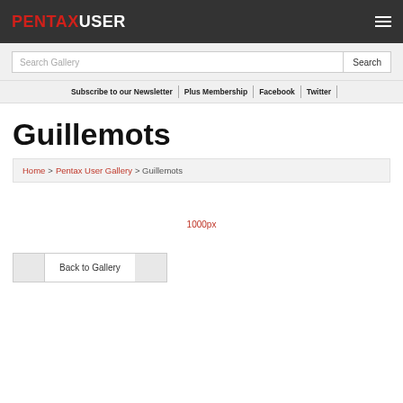PENTAXUSER
Search Gallery | Search
Subscribe to our Newsletter | Plus Membership | Facebook | Twitter
Guillemots
Home > Pentax User Gallery > Guillemots
1000px
Back to Gallery